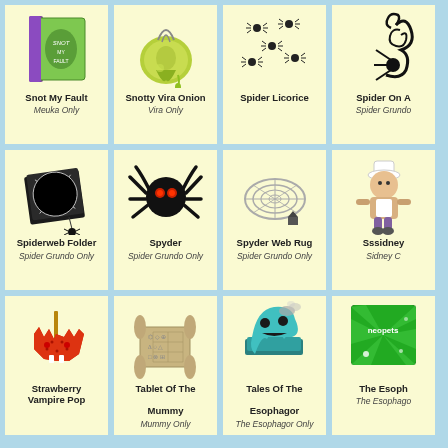[Figure (illustration): Green book with purple spine - Snot My Fault]
Snot My Fault
Meuka Only
[Figure (illustration): Green snotty onion potion - Snotty Vira Onion]
Snotty Vira Onion
Vira Only
[Figure (illustration): Multiple small spiders - Spider Licorice]
Spider Licorice
[Figure (illustration): Black swirly spider - Spider On A...]
Spider On A
Spider Grundo
[Figure (illustration): Black folder with spiderweb - Spiderweb Folder]
Spiderweb Folder
Spider Grundo Only
[Figure (illustration): Black spider with red eyes - Spyder]
Spyder
Spider Grundo Only
[Figure (illustration): Spiderweb rug circular - Spyder Web Rug]
Spyder Web Rug
Spider Grundo Only
[Figure (illustration): Chef character - Sssidney]
Sssidney
Sidney C
[Figure (illustration): Red vampire strawberry pop]
Strawberry Vampire Pop
[Figure (illustration): Ancient stone tablet with symbols - Tablet Of The Mummy]
Tablet Of The Mummy
Mummy Only
[Figure (illustration): Teal ghost book - Tales Of The Esophagor]
Tales Of The Esophagor
The Esophagor Only
[Figure (illustration): Neopets branded item - The Esoph...]
The Esoph
The Esophago